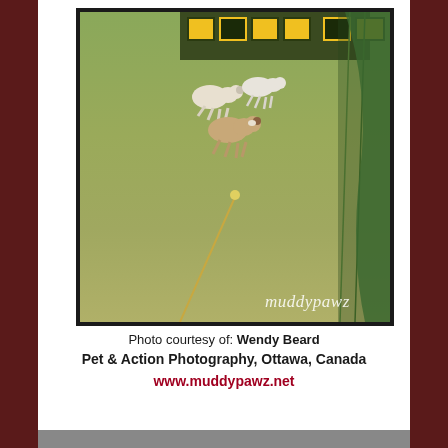[Figure (photo): Dogs running on a grass field during what appears to be a flyball or agility competition. A scoreboard with yellow boxes is visible in the background. Netting and poles are on the right side. Watermark 'muddypawz' visible in the lower right corner of the photo.]
Photo courtesy of: Wendy Beard
Pet & Action Photography, Ottawa, Canada
www.muddypawz.net